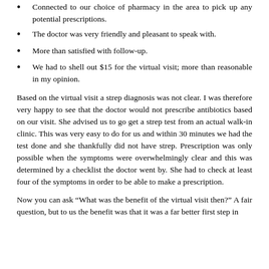Connected to our choice of pharmacy in the area to pick up any potential prescriptions.
The doctor was very friendly and pleasant to speak with.
More than satisfied with follow-up.
We had to shell out $15 for the virtual visit; more than reasonable in my opinion.
Based on the virtual visit a strep diagnosis was not clear. I was therefore very happy to see that the doctor would not prescribe antibiotics based on our visit. She advised us to go get a strep test from an actual walk-in clinic. This was very easy to do for us and within 30 minutes we had the test done and she thankfully did not have strep. Prescription was only possible when the symptoms were overwhelmingly clear and this was determined by a checklist the doctor went by. She had to check at least four of the symptoms in order to be able to make a prescription.
Now you can ask "What was the benefit of the virtual visit then?" A fair question, but to us the benefit was that it was a far better first step in